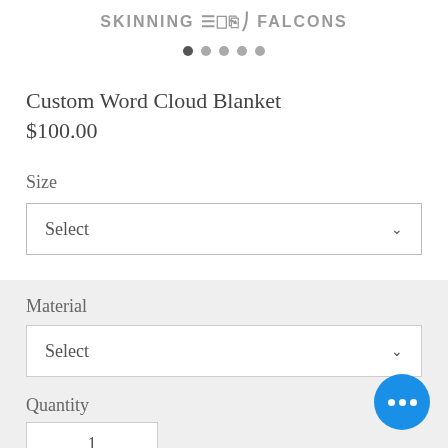[Figure (logo): Blurred/partial storefront logo text reading 'SKINNING...FALCONS' with icons]
[Figure (other): Carousel navigation dots, 5 dots with first one active/filled]
Custom Word Cloud Blanket
$100.00
Size
Select
Material
Select
Quantity
1